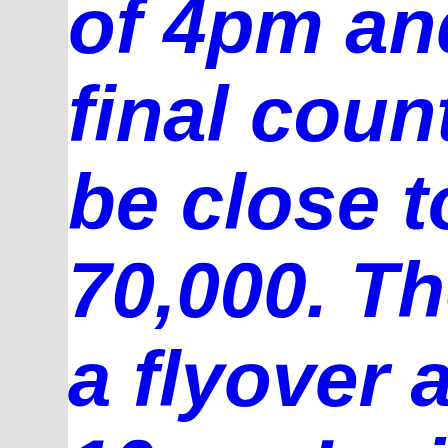...of 4pm and the final count may be close to 70,000. There was a flyover around 10am, I missed it as I was getting my 25 EMTs ...